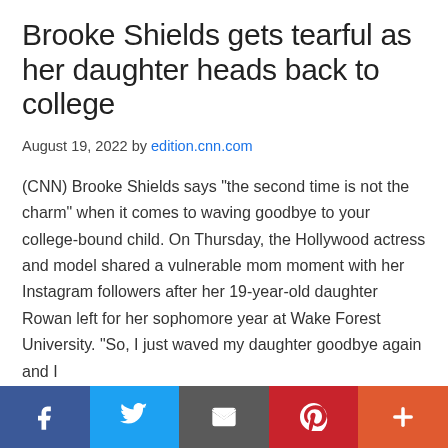Brooke Shields gets tearful as her daughter heads back to college
August 19, 2022 by edition.cnn.com
(CNN) Brooke Shields says "the second time is not the charm" when it comes to waving goodbye to your college-bound child. On Thursday, the Hollywood actress and model shared a vulnerable mom moment with her Instagram followers after her 19-year-old daughter Rowan left for her sophomore year at Wake Forest University. "So, I just waved my daughter goodbye again and I
Social share bar: Facebook, Twitter, Email, Pinterest, More